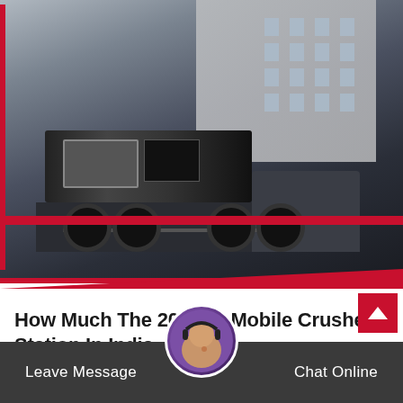[Figure (photo): Large truck/trailer transporting a mobile crusher station, photographed from a street-level angle. Heavy machinery loaded on a flatbed truck with red accent bar. Buildings visible in background.]
How Much The 200Tph Mobile Crusher Station In India
Crusher features how much is a set of 200t crawler mobile crusher there are two kinds of crawler…
Read More
Leave Message
Chat Online